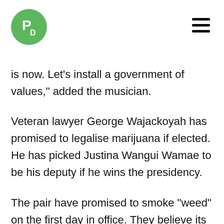[Figure (logo): Green circular logo with white letters P and D]
is now. Let’s install a government of values,” added the musician.
Veteran lawyer George Wajackoyah has promised to legalise marijuana if elected. He has picked Justina Wangui Wamae to be his deputy if he wins the presidency.
The pair have promised to smoke “weed” on the first day in office. They believe its legalisation is long overdue.
The duo, who are running on the Roots Party ticket